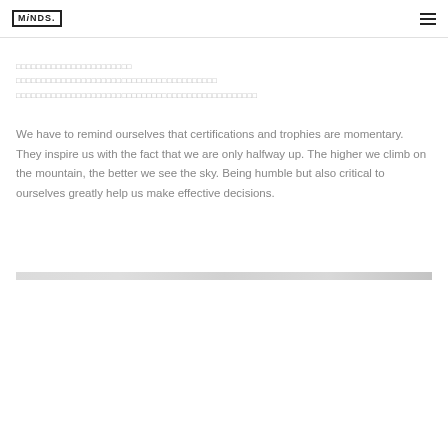MiNDS. [logo] [hamburger menu]
□□□□□□□□□□□□□□□□□□□□□□□
□□□□□□□□□□□□□□□□□□□□□□□□□□□□□□□□□□□□□□□□
□□□□□□□□□□□□□□□□□□□□□□□□□□□□□□□□□□□□□□□□□□□□□□□□
We have to remind ourselves that certifications and trophies are momentary. They inspire us with the fact that we are only halfway up. The higher we climb on the mountain, the better we see the sky. Being humble but also critical to ourselves greatly help us make effective decisions.